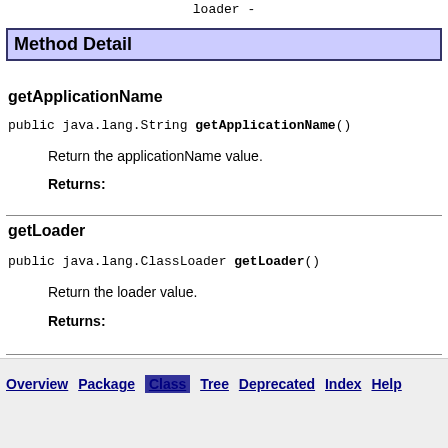loader -
Method Detail
getApplicationName
public java.lang.String getApplicationName()
Return the applicationName value.
Returns:
getLoader
public java.lang.ClassLoader getLoader()
Return the loader value.
Returns:
Overview  Package  Class  Tree  Deprecated  Index  Help